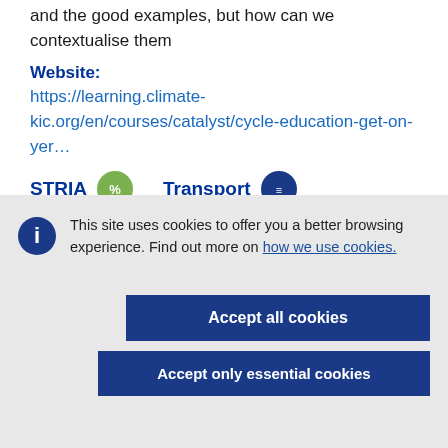and the good examples, but how can we contextualise them
Website: https://learning.climate-kic.org/en/courses/catalyst/cycle-education-get-on-yer…
STRIA  Transport
This site uses cookies to offer you a better browsing experience. Find out more on how we use cookies.
Accept all cookies
Accept only essential cookies